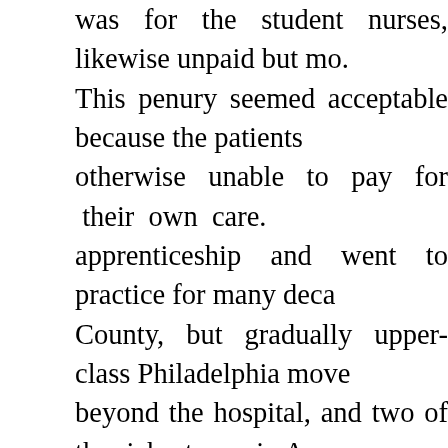was for the student nurses, likewise unpaid but mo. This penury seemed acceptable because the patients otherwise unable to pay for their own care. apprenticeship and went to practice for many deca. County, but gradually upper-class Philadelphia move beyond the hospital, and two of the richest men in A had houses within a block of the hospital, although Mo more pressing matters in debtor's prison. Therefor hospital had the potential of setting up a private practi doctors as well as academically prominent ones. neighborhood created the potential for volunteer wor bequests for charity. The British housed their wo Revolutionary War and shot deserters against the re the north. A century later, there were a couple of do hospital for the convenience of the doctors and the n charity patient. And a century after that, the hospit department to collect bills and tended to regard peopl Benjamin Franklin is regarded as the Founder of t famously describes how he fast-talked the legislature public, not mentioning to them that he had already co project through. This seems in character; Franklin's b up that "Franklin doesn't tell us everything, but what h